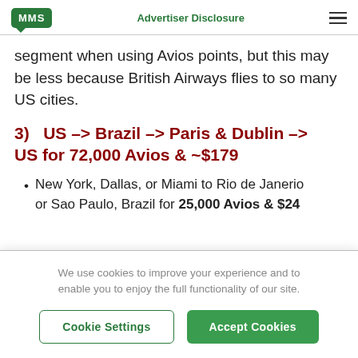MMS | Advertiser Disclosure
segment when using Avios points, but this may be less because British Airways flies to so many US cities.
3)  US –> Brazil –> Paris & Dublin –> US for 72,000 Avios & ~$179
New York, Dallas, or Miami to Rio de Janerio or Sao Paulo, Brazil for 25,000 Avios & $24
We use cookies to improve your experience and to enable you to enjoy the full functionality of our site.